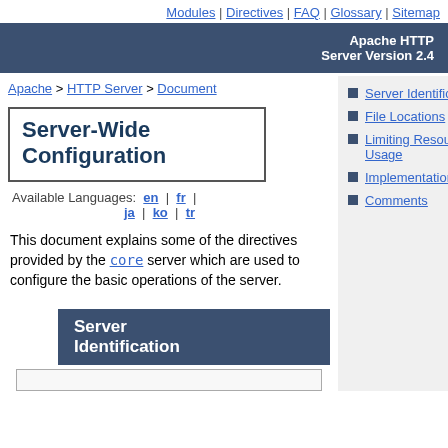Modules | Directives | FAQ | Glossary | Sitemap
Apache HTTP Server Version 2.4
Apache > HTTP Server > Document
Server-Wide Configuration
Available Languages: en | fr | ja | ko | tr
Server Identification
File Locations
Limiting Resource Usage
Implementation Choices
Comments
This document explains some of the directives provided by the core server which are used to configure the basic operations of the server.
Server Identification